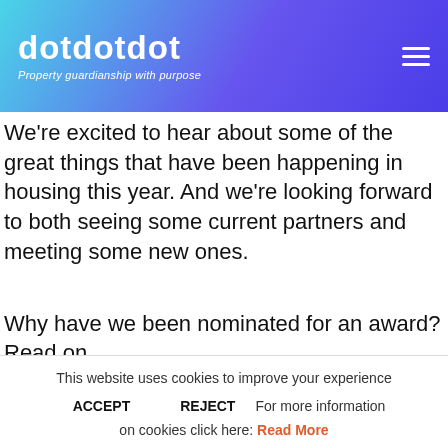dotdotdot — Property guardianship with purpose
We're excited to hear about some of the great things that have been happening in housing this year. And we're looking forward to both seeing some current partners and meeting some new ones.
Why have we been nominated for an award? Read on
This website uses cookies to improve your experience
ACCEPT   REJECT   For more information on cookies click here: Read More